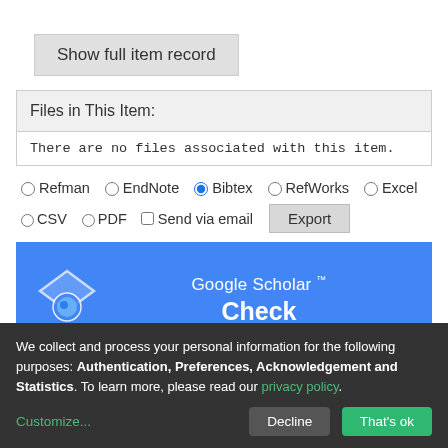Show full item record
Files in This Item:
There are no files associated with this item.
Refman  EndNote  Bibtex (selected)  RefWorks  Excel  CSV  PDF  Send via email  Export
[Figure (screenshot): Google Scholar check button with logo]
We collect and process your personal information for the following purposes: Authentication, Preferences, Acknowledgement and Statistics. To learn more, please read our privacy policy.
Customize... Decline That's ok